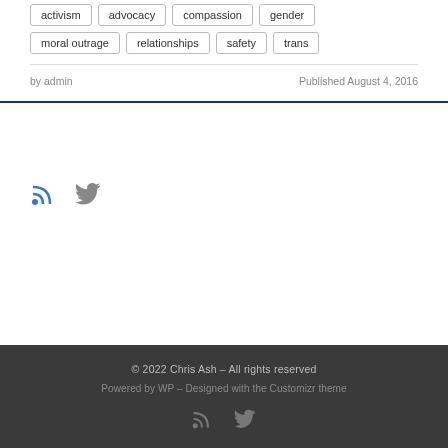activism
advocacy
compassion
gender
moral outrage
relationships
safety
trans
by admin
Published August 4, 2016
[Figure (other): RSS and Twitter social media icons in blue and gray]
© 2022 Chris Ash – All rights reserved
Powered by WP – Designed with the Customizr theme
[Figure (other): RSS and Twitter social media icons in gray on dark footer]